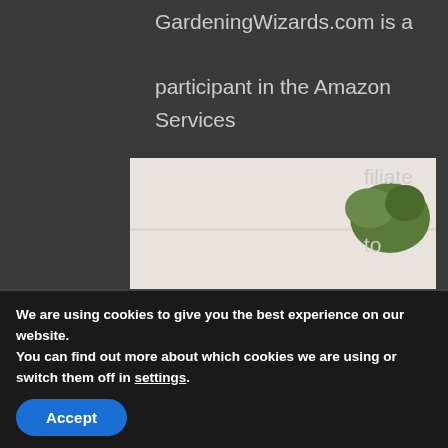GardeningWizards.com is a participant in the Amazon Services LLC Affiliate Program, a program designed to provide a means for sites to earn advertising fees by advertising and linking to Amazon.com, Inc., or its
[Figure (photo): A light gray t-shirt with a vintage-style design showing potted succulents and cacti with text 'WHAT THE FUCCULENT']
We are using cookies to give you the best experience on our website.
You can find out more about which cookies we are using or switch them off in settings.
Accept